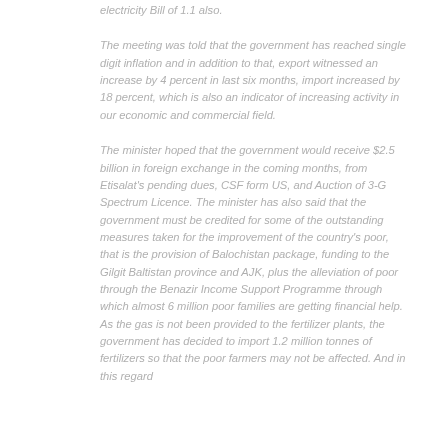electricity Bill of 1.1 also.
The meeting was told that the government has reached single digit inflation and in addition to that, export witnessed an increase by 4 percent in last six months, import increased by 18 percent, which is also an indicator of increasing activity in our economic and commercial field.
The minister hoped that the government would receive $2.5 billion in foreign exchange in the coming months, from Etisalat's pending dues, CSF form US, and Auction of 3-G Spectrum Licence. The minister has also said that the government must be credited for some of the outstanding measures taken for the improvement of the country's poor, that is the provision of Balochistan package, funding to the Gilgit Baltistan province and AJK, plus the alleviation of poor through the Benazir Income Support Programme through which almost 6 million poor families are getting financial help. As the gas is not been provided to the fertilizer plants, the government has decided to import 1.2 million tonnes of fertilizers so that the poor farmers may not be affected. And in this regard